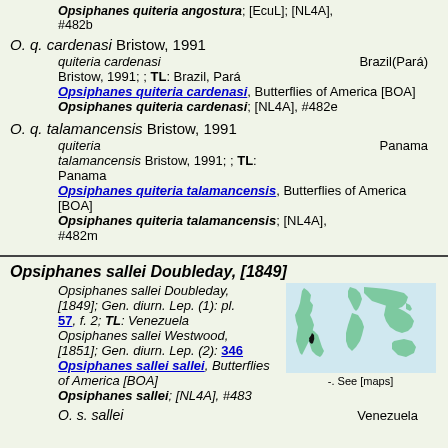Opsiphanes quiteria angostura; [EcuL]; [NL4A], #482b
O. q. cardenasi Bristow, 1991
quiteria cardenasi Bristow, 1991; ; TL: Brazil, Pará   Brazil(Pará)
Opsiphanes quiteria cardenasi, Butterflies of America [BOA]
Opsiphanes quiteria cardenasi; [NL4A], #482e
O. q. talamancensis Bristow, 1991
quiteria talamancensis Bristow, 1991; ; TL: Panama   Panama
Opsiphanes quiteria talamancensis, Butterflies of America [BOA]
Opsiphanes quiteria talamancensis; [NL4A], #482m
Opsiphanes sallei Doubleday, [1849]
Opsiphanes sallei Doubleday, [1849]; Gen. diurn. Lep. (1): pl. 57, f. 2; TL: Venezuela
Opsiphanes sallei Westwood, [1851]; Gen. diurn. Lep. (2): 346
Opsiphanes sallei sallei, Butterflies of America [BOA]
Opsiphanes sallei; [NL4A], #483
[Figure (map): World map showing distribution range with a small marker in South America (Venezuela area). Caption: -. See [maps]]
O. s. sallei   Venezuela